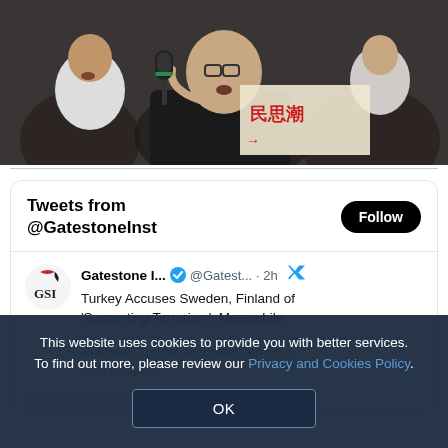[Figure (photo): Photo of a young East Asian man speaking into a microphone at a protest, wearing a black shirt, with others visible behind him and a sign with Chinese characters visible]
[Figure (screenshot): Twitter/X embedded widget showing 'Tweets from @GatestoneInst' with a Follow button, and a tweet from Gatestone Institute about Turkey accusing Sweden and Finland of supporting terrorism]
This website uses cookies to provide you with better services. To find out more, please review our Privacy and Cookies Policy.
OK